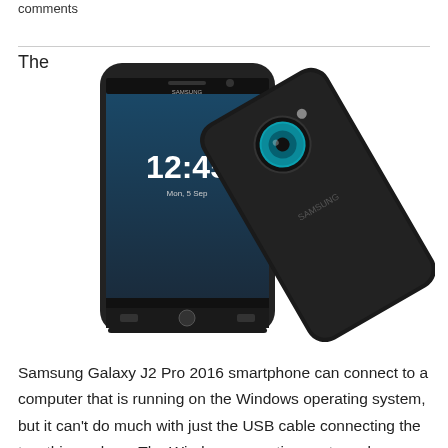comments
[Figure (photo): Samsung Galaxy J2 Pro 2016 smartphone shown from front and back. The front shows the lock screen with time 12:45. The back shows the camera and Samsung branding.]
The
Samsung Galaxy J2 Pro 2016 smartphone can connect to a computer that is running on the Windows operating system, but it can't do much with just the USB cable connecting the two things alone. The Windows operating system also needs to have the right USB Drivers installed before the Samsung Galaxy J2 smartphone can transfer data to and from the computer.